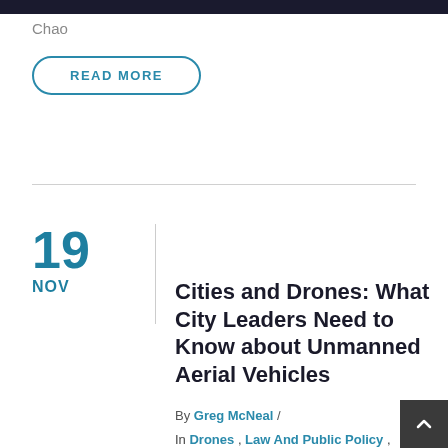Chao
READ MORE
19
NOV
Cities and Drones: What City Leaders Need to Know about Unmanned Aerial Vehicles
By Greg McNeal /
In Drones , Law And Public Policy , Presentations K